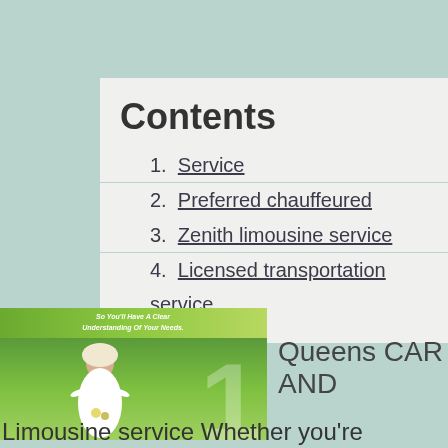Contents
1. Service
2. Preferred chauffeured service
3. Zenith limousine service
4. Licensed transportation service
[Figure (photo): Green banner with text 'So You'll Have A Clear Understanding Of Your Needs.' above a photo of a bride in wedding dress and veil, with a large numeral 1 in the background]
Queens CAR AND
Limousine service Whether you're heading to